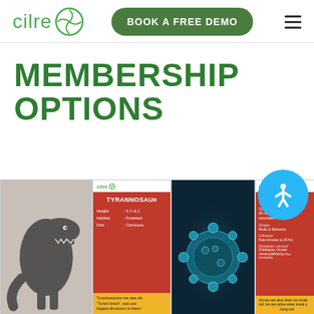[Figure (screenshot): Cilre website header with logo, Book a Free Demo button, and hamburger menu]
MEMBERSHIP OPTIONS
[Figure (screenshot): Four cards showing membership options: T-rex dinosaur photo card, Cilre Tyrannosaurus info card, Virus microscope photo card, and Cilre Virus info card]
[Figure (illustration): Blue accessibility icon button (person with arms outstretched)]